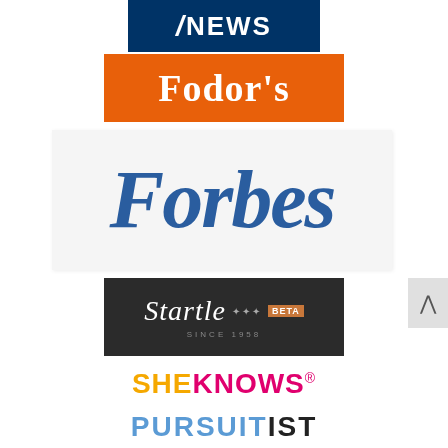[Figure (logo): Fox News logo — dark navy blue background with white text: slash mark followed by NEWS in bold caps]
[Figure (logo): Fodor's logo — orange rectangle background with white bold serif text: Fodor's]
[Figure (logo): Forbes logo — large blue italic serif Forbes wordmark on light grey/white background]
[Figure (logo): Startle logo — dark brown/charcoal background with white script text 'Startle', stars, orange BETA badge, and 'SINCE 1958' subtitle]
[Figure (logo): SheKnows logo — SHE in orange/gold bold sans-serif, KNOWS in hot pink/magenta bold sans-serif, with registered trademark symbol]
[Figure (logo): Pursuitist logo — PURSUIT in light blue bold sans-serif, IST in black bold sans-serif]